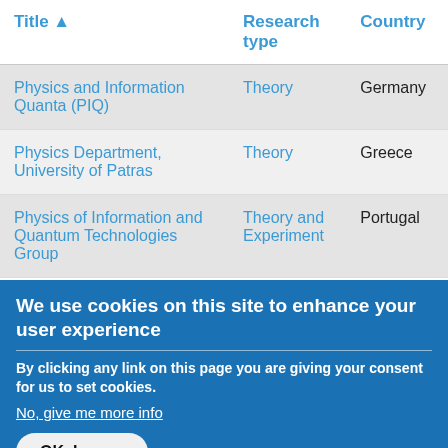| Title ▲ | Research type | Country |
| --- | --- | --- |
| Physics and Information Quanta (PIQ) | Theory | Germany |
| Physics Department, University of Patras | Theory | Greece |
| Physics of Information and Quantum Technologies Group | Theory and Experiment | Portugal |
We use cookies on this site to enhance your user experience
By clicking any link on this page you are giving your consent for us to set cookies.
No, give me more info
OK, I agree